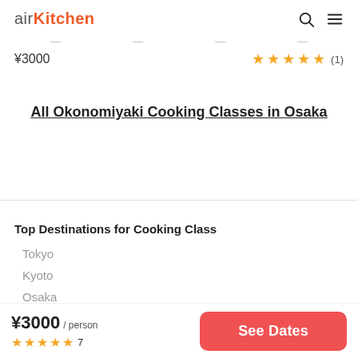airKitchen
¥3000
★ ★ ★ ★ ★ (1)
All Okonomiyaki Cooking Classes in Osaka
Top Destinations for Cooking Class
Tokyo
Kyoto
Osaka
¥3000 / person
★★★★★ 7
See Dates